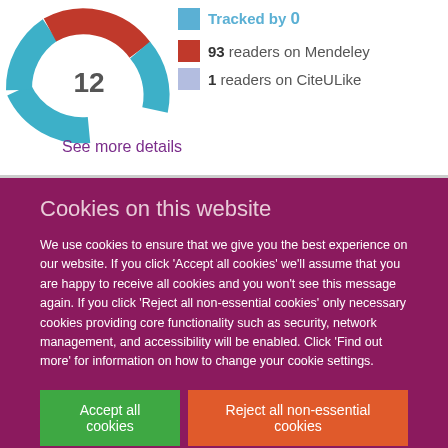[Figure (donut-chart): Partial donut chart showing metric score of 12, with blue and red segments]
93 readers on Mendeley
1 readers on CiteULike
See more details
Cookies on this website
We use cookies to ensure that we give you the best experience on our website. If you click 'Accept all cookies' we'll assume that you are happy to receive all cookies and you won't see this message again. If you click 'Reject all non-essential cookies' only necessary cookies providing core functionality such as security, network management, and accessibility will be enabled. Click 'Find out more' for information on how to change your cookie settings.
Accept all cookies
Reject all non-essential cookies
Find out more